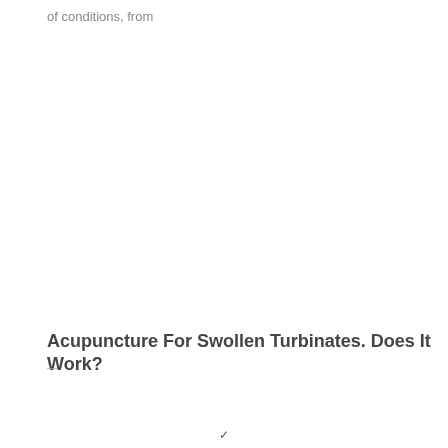of conditions, from
Acupuncture For Swollen Turbinates. Does It Work?
— subtitle text line below title